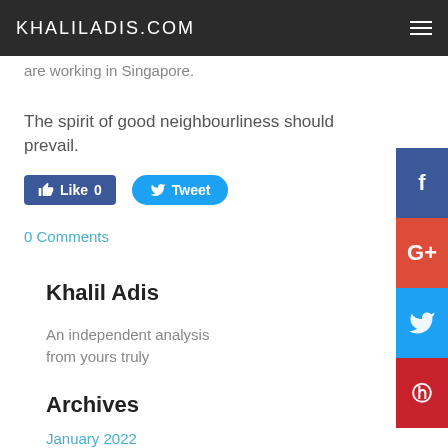KHALILADIS.COM
are working in Singapore.
The spirit of good neighbourliness should prevail.
[Figure (other): Facebook Like button showing 0 likes and Twitter Tweet button]
0 Comments
Khalil Adis
An independent analysis
from yours truly
Archives
January 2022
[Figure (other): Social media sidebar icons: Facebook (blue), Google+ (red), Twitter (light blue), Pinterest (dark red)]